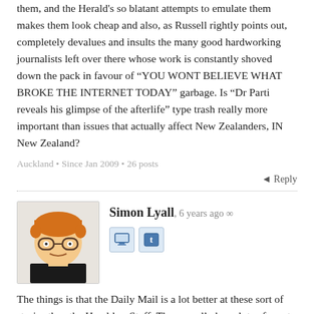them, and the Herald's so blatant attempts to emulate them makes them look cheap and also, as Russell rightly points out, completely devalues and insults the many good hardworking journalists left over there whose work is constantly shoved down the pack in favour of “YOU WONT BELIEVE WHAT BROKE THE INTERNET TODAY” garbage. Is “Dr Parti reveals his glimpse of the afterlife” type trash really more important than issues that actually affect New Zealanders, IN New Zealand?
Auckland • Since Jan 2009 • 26 posts
◄ Reply
Simon Lyall, 6 years ago ∞
The things is that the Daily Mail is a lot better at these sort of stories than the Herald or Stuff. They usually have lots of great pictures attached to the stories and nice summaries that don’t get picked up by the NZ sites:
eg compare this Herald story to the Daily Mail